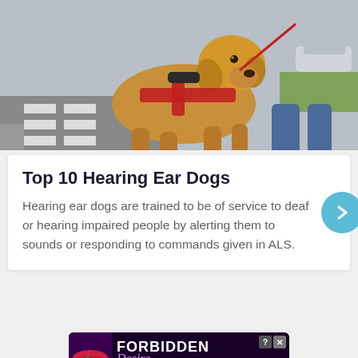[Figure (photo): A golden Labrador retriever wearing a red service dog harness and leash, standing at a crosswalk with a person in jeans visible behind it.]
Top 10 Hearing Ear Dogs
Hearing ear dogs are trained to be of service to deaf or hearing impaired people by alerting them to sounds or responding to commands given in ALS.
[Figure (other): Advertisement banner: 'FORBIDDEN Desire - PLAY NOW - 18+' on dark purple background with lips graphic.]